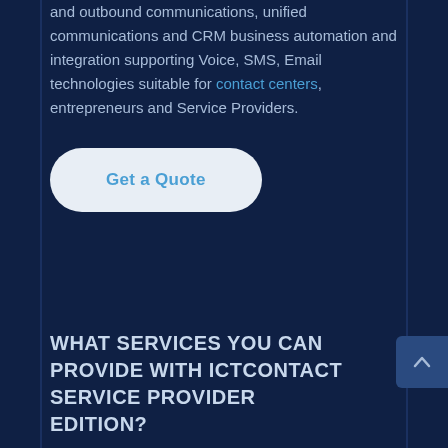and outbound communications, unified communications and CRM business automation and integration supporting Voice, SMS, Email technologies suitable for contact centers, entrepreneurs and Service Providers.
Get a Quote
WHAT SERVICES YOU CAN PROVIDE WITH ICTCONTACT SERVICE PROVIDER EDITION?